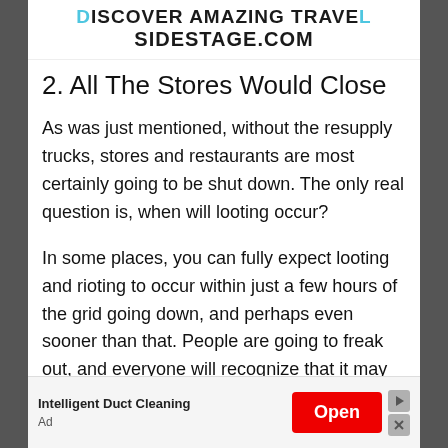DISCOVER AMAZING TRAVEL SIDESTAGE.COM
2. All The Stores Would Close
As was just mentioned, without the resupply trucks, stores and restaurants are most certainly going to be shut down. The only real question is, when will looting occur?
In some places, you can fully expect looting and rioting to occur within just a few hours of the grid going down, and perhaps even sooner than that. People are going to freak out, and everyone will recognize that it may
Intelligent Duct Cleaning
Ad
Open